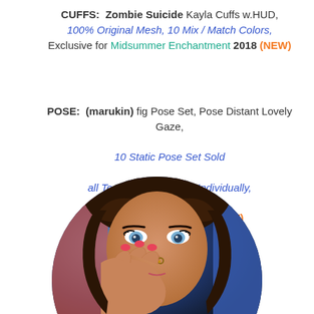CUFFS: Zombie Suicide Kayla Cuffs w.HUD, 100% Original Mesh, 10 Mix / Match Colors, Exclusive for Midsummer Enchantment 2018 (NEW)
POSE: (marukin) fig Pose Set, Pose Distant Lovely Gaze, 10 Static Pose Set Sold all Together as One, or Individually, Exclusive for Collabor88 (NEW)
[Figure (photo): Circular cropped photo of an anime/virtual-world style female character with dark brown hair, blue eyes, hand near face with pink nails, nose ring.]